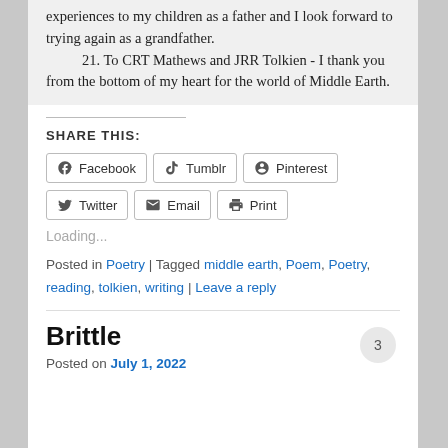experiences to my children as a father and I look forward to trying again as a grandfather.
   21. To CRT Mathews and JRR Tolkien - I thank you from the bottom of my heart for the world of Middle Earth.
SHARE THIS:
Facebook  Tumblr  Pinterest  Twitter  Email  Print
Loading...
Posted in Poetry | Tagged middle earth, Poem, Poetry, reading, tolkien, writing | Leave a reply
Brittle
Posted on July 1, 2022